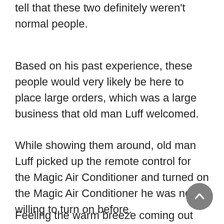tell that these two definitely weren't normal people.
Based on his past experience, these people would very likely be here to place large orders, which was a large business that old man Luff welcomed.
While showing them around, old man Luff picked up the remote control for the Magic Air Conditioner and turned on the Magic Air Conditioner he was never willing to turn on before.
Feeling the warm breeze coming out and